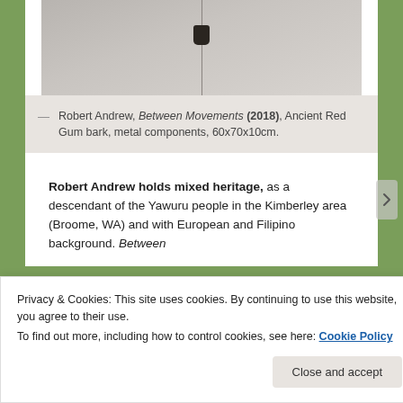[Figure (photo): Photograph of an artwork on a wall — a small dark object (bark piece) suspended by a thin wire or string against a light grey wall, with a vertical seam visible in the background.]
— Robert Andrew, Between Movements (2018), Ancient Red Gum bark, metal components, 60x70x10cm.
Robert Andrew holds mixed heritage, as a descendant of the Yawuru people in the Kimberley area (Broome, WA) and with European and Filipino background. Between
Privacy & Cookies: This site uses cookies. By continuing to use this website, you agree to their use.
To find out more, including how to control cookies, see here: Cookie Policy